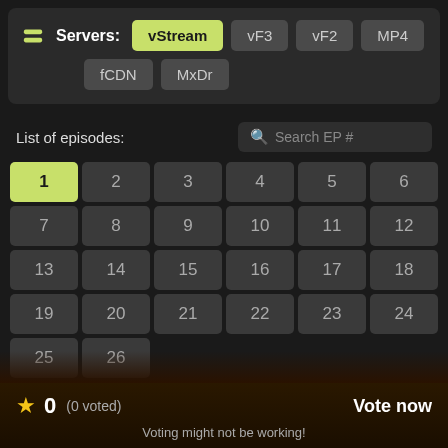Servers: vStream vF3 vF2 MP4 fCDN MxDr
List of episodes:
| 1 | 2 | 3 | 4 | 5 | 6 |
| 7 | 8 | 9 | 10 | 11 | 12 |
| 13 | 14 | 15 | 16 | 17 | 18 |
| 19 | 20 | 21 | 22 | 23 | 24 |
| 25 | 26 |  |  |  |  |
★ 0  (0 voted)   Vote now
Voting might not be working!